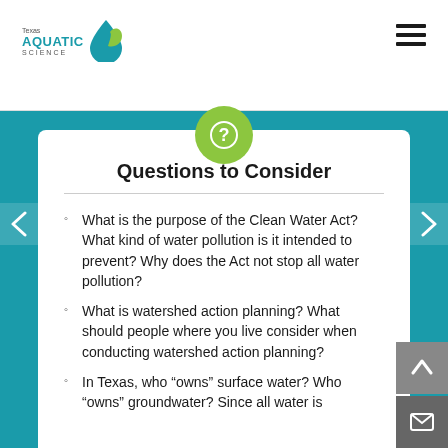Texas Aquatic Science
Questions to Consider
What is the purpose of the Clean Water Act? What kind of water pollution is it intended to prevent? Why does the Act not stop all water pollution?
What is watershed action planning? What should people where you live consider when conducting watershed action planning?
In Texas, who “owns” surface water? Who “owns” groundwater? Since all water is